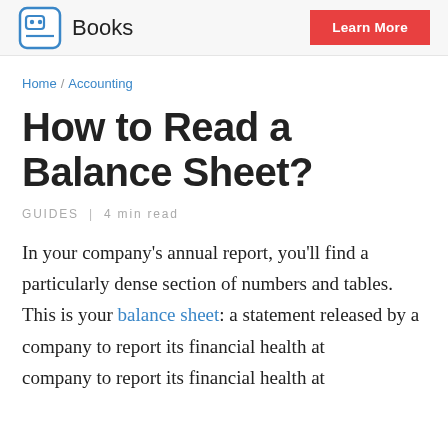Books   Learn More
Home / Accounting
How to Read a Balance Sheet?
GUIDES |  4 min read
In your company’s annual report, you’ll find a particularly dense section of numbers and tables. This is your balance sheet: a statement released by a company to report its financial health at